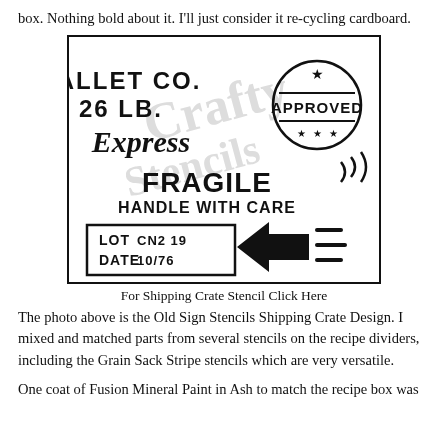box. Nothing bold about it. I'll just consider it re-cycling cardboard.
[Figure (illustration): A shipping crate stencil design showing: PALLET CO., 26 LB., Express (cursive), FRAGILE HANDLE WITH CARE, LOT CN2 19 DATE 10/76 in a box, an APPROVED stamp with star, and a left-pointing arrow with lines. Watermark text visible in background.]
For Shipping Crate Stencil Click Here
The photo above is the Old Sign Stencils Shipping Crate Design. I mixed and matched parts from several stencils on the recipe dividers, including the Grain Sack Stripe stencils which are very versatile.
One coat of Fusion Mineral Paint in Ash to match the recipe box was